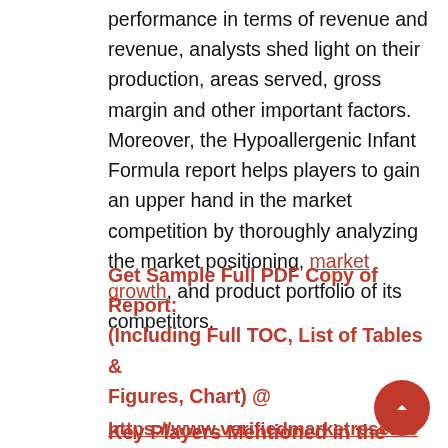performance in terms of revenue and revenue, analysts shed light on their production, areas served, gross margin and other important factors. Moreover, the Hypoallergenic Infant Formula report helps players to gain an upper hand in the market competition by thoroughly analyzing the market positioning, market growth, and product portfolio of its competitors.
Get Sample Full PDF Copy of Report: (Including Full TOC, List of Tables & Figures, Chart) @ https://www.verifiedmarketresearch.com/download-sample/?rid=5767
Key Players Mentioned in the